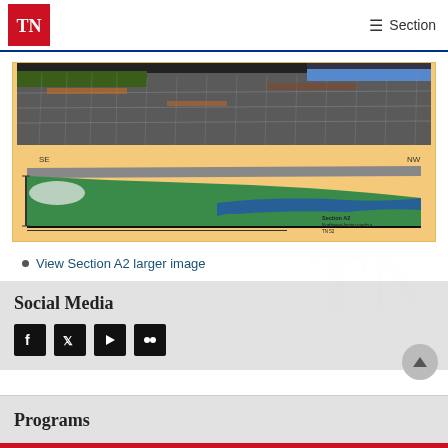TN | Section
[Figure (photo): Geological cross-section image showing Section A2, Northwest-facing roadcut, TN 52. Top half shows photograph of rock outcrop with vertical fractures; bottom half shows interpreted geological diagram with green and blue layers (SE to NW orientation).]
View Section A2 larger image
Social Media
[Figure (other): Social media icons: Facebook, Twitter, YouTube, Flickr]
Programs